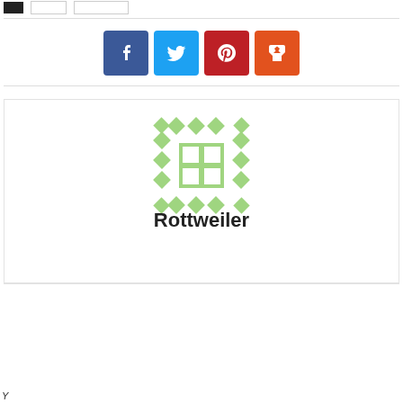[Figure (screenshot): Top navigation bar with one black tab and two outline tabs]
[Figure (infographic): Social sharing buttons: Facebook (blue), Twitter (light blue), Pinterest (red), Mix (orange-red)]
[Figure (illustration): Default avatar — green diamond quilt pattern on white background]
Rottweiler
faint author sub-line text (partially visible)
Y